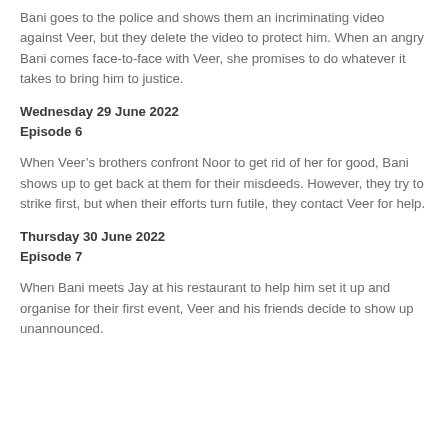Bani goes to the police and shows them an incriminating video against Veer, but they delete the video to protect him. When an angry Bani comes face-to-face with Veer, she promises to do whatever it takes to bring him to justice.
Wednesday 29 June 2022
Episode 6
When Veer’s brothers confront Noor to get rid of her for good, Bani shows up to get back at them for their misdeeds. However, they try to strike first, but when their efforts turn futile, they contact Veer for help.
Thursday 30 June 2022
Episode 7
When Bani meets Jay at his restaurant to help him set it up and organise for their first event, Veer and his friends decide to show up unannounced.